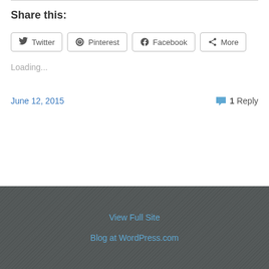Share this:
Twitter  Pinterest  Facebook  More
Loading...
June 12, 2015    1 Reply
View Full Site
Blog at WordPress.com